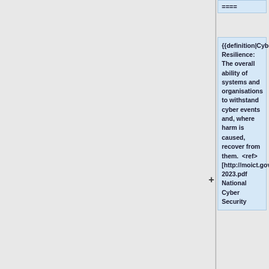====
{{definition|Cyber Resilience: The overall ability of systems and organisations to withstand cyber events and, where harm is caused, recover from them.  <ref>[http://moict.gov.jo/uploads/studies/National%20Cyber%20Security%20Strategy%202018-2023.pdf National Cyber Security